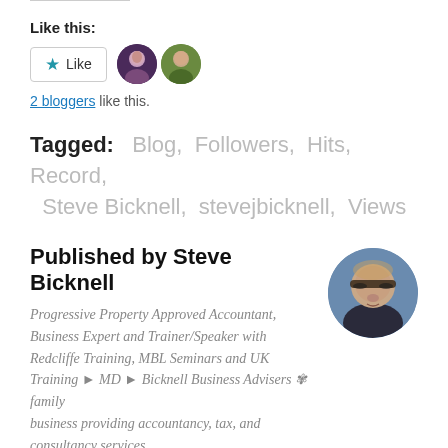Like this:
[Figure (other): Like button with star icon and two blogger avatars]
2 bloggers like this.
Tagged: Blog, Followers, Hits, Record, Steve Bicknell, stevejbicknell, Views
Published by Steve Bicknell
Progressive Property Approved Accountant, Business Expert and Trainer/Speaker with Redcliffe Training, MBL Seminars and UK Training ► MD ► Bicknell Business Advisers ✾ family business providing accountancy, tax, and consultancy services to SME's and Start Ups - Xero, Sage One, QuickBooks